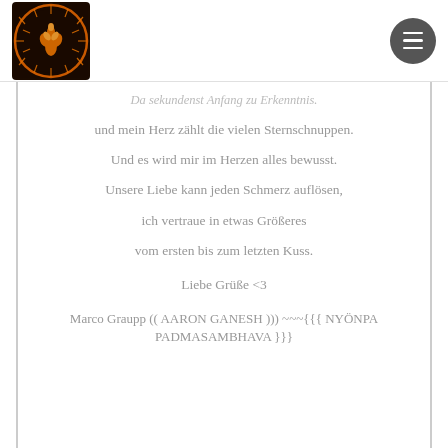[Logo and menu button]
Da sekundenst Anfang zu Erkenntnis.
und mein Herz zählt die vielen Sternschnuppen.
Und es wird mir im Herzen alles bewusst.
Unsere Liebe kann jeden Schmerz auflösen,
ich vertraue in etwas Größeres
vom ersten bis zum letzten Kuss.
Liebe Grüße <3
Marco Graupp (( AARON GANESH ))) ~~~{{{ NYÖNPA PADMASAMBHAVA }}}